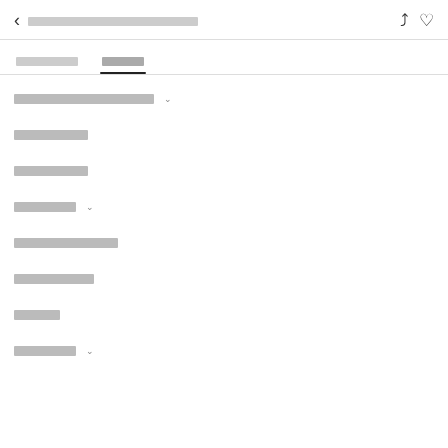< [redacted navigation title]
[Tab 1]  [Tab 2 - active]
[redacted menu item 1] v
[redacted menu item 2]
[redacted menu item 3]
[redacted menu item 4] v
[redacted menu item 5]
[redacted menu item 6]
[redacted menu item 7]
[redacted menu item 8] v